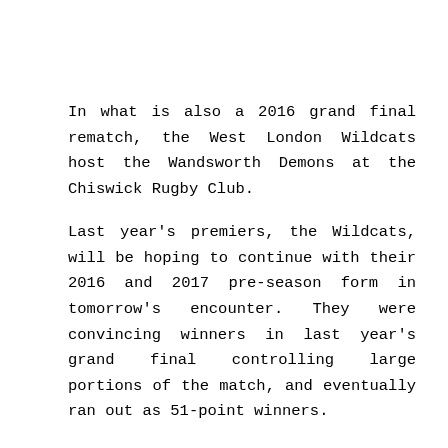In what is also a 2016 grand final rematch, the West London Wildcats host the Wandsworth Demons at the Chiswick Rugby Club.
Last year's premiers, the Wildcats, will be hoping to continue with their 2016 and 2017 pre-season form in tomorrow's encounter. They were convincing winners in last year's grand final controlling large portions of the match, and eventually ran out as 51-point winners.
Having added a third consecutive AFL Europe Champions League to their trophy cabinet, and claiming the AFL London Pre-Season Cup, they'll go into this clash as deserved favorites.
With the nature of the AFL London player turnover year-